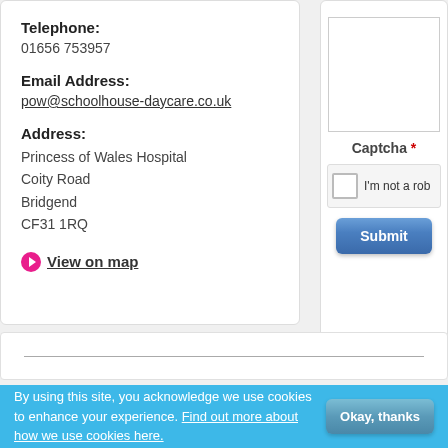Telephone:
01656 753957
Email Address:
pow@schoolhouse-daycare.co.uk
Address:
Princess of Wales Hospital
Coity Road
Bridgend
CF31 1RQ
View on map
Captcha *
I'm not a rob
Submit
By using this site, you acknowledge we use cookies to enhance your experience. Find out more about how we use cookies here.
Okay, thanks